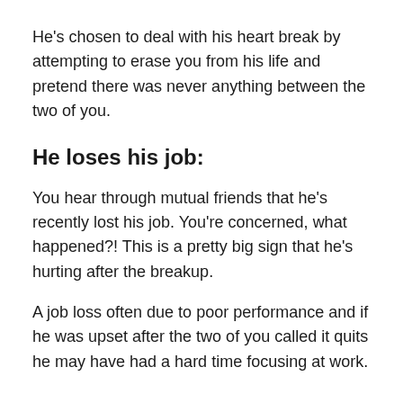He's chosen to deal with his heart break by attempting to erase you from his life and pretend there was never anything between the two of you.
He loses his job:
You hear through mutual friends that he's recently lost his job. You're concerned, what happened?! This is a pretty big sign that he's hurting after the breakup.
A job loss often due to poor performance and if he was upset after the two of you called it quits he may have had a hard time focusing at work.